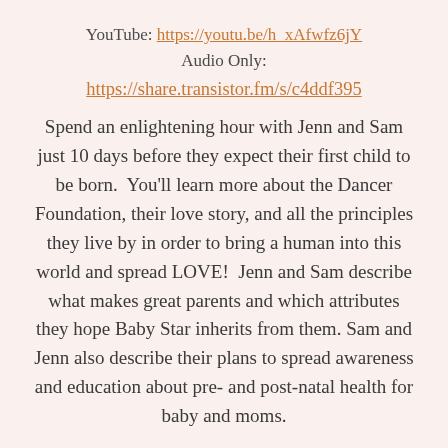YouTube: https://youtu.be/h_xAfwfz6jY
Audio Only:
https://share.transistor.fm/s/c4ddf395
Spend an enlightening hour with Jenn and Sam just 10 days before they expect their first child to be born.  You'll learn more about the Dancer Foundation, their love story, and all the principles they live by in order to bring a human into this world and spread LOVE!  Jenn and Sam describe what makes great parents and which attributes they hope Baby Star inherits from them. Sam and Jenn also describe their plans to spread awareness and education about pre- and post-natal health for baby and moms.